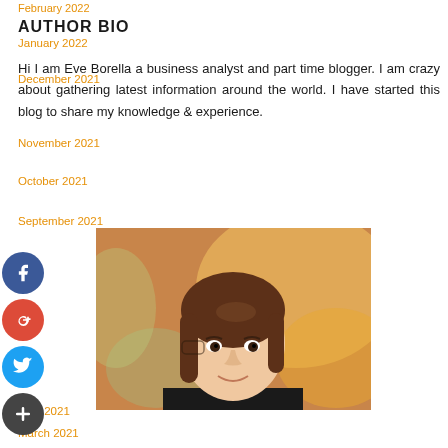February 2022
AUTHOR BIO
January 2022
December 2021
Hi I am Eve Borella a business analyst and part time blogger. I am crazy about gathering latest information around the world. I have started this blog to share my knowledge & experience.
November 2021
October 2021
September 2021
[Figure (photo): Portrait photo of Eve Borella, a woman with brown hair, smiling, outdoors with warm bokeh background]
April 2021
March 2021